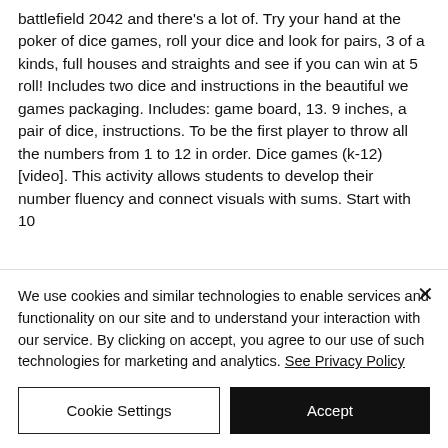battlefield 2042 and there's a lot of. Try your hand at the poker of dice games, roll your dice and look for pairs, 3 of a kinds, full houses and straights and see if you can win at 5 roll! Includes two dice and instructions in the beautiful we games packaging. Includes: game board, 13. 9 inches, a pair of dice, instructions. To be the first player to throw all the numbers from 1 to 12 in order. Dice games (k-12) [video]. This activity allows students to develop their number fluency and connect visuals with sums. Start with 10 [text cut off]
We use cookies and similar technologies to enable services and functionality on our site and to understand your interaction with our service. By clicking on accept, you agree to our use of such technologies for marketing and analytics. See Privacy Policy